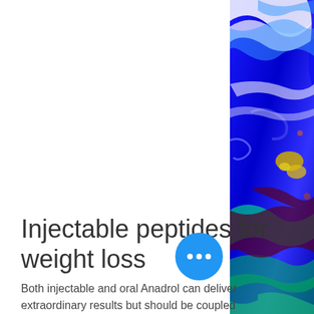[Figure (illustration): Colorful abstract marble/fluid art painting with swirling blue, green, gold, and dark red patterns, positioned along the right edge of the page]
Injectable peptides for weight loss
Both injectable and oral Anadrol can deliver extraordinary results but should be coupled